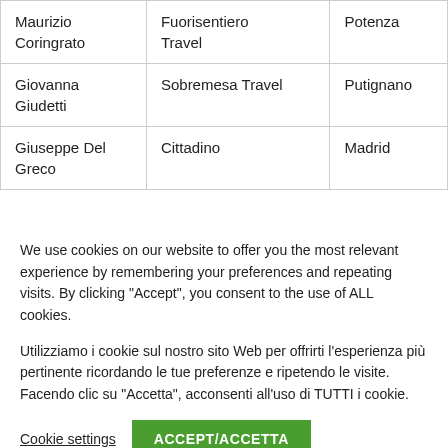| Maurizio Coringrato | Fuorisentiero Travel | Potenza |
| Giovanna Giudetti | Sobremesa Travel | Putignano |
| Giuseppe Del Greco | Cittadino | Madrid |
We use cookies on our website to offer you the most relevant experience by remembering your preferences and repeating visits. By clicking "Accept", you consent to the use of ALL cookies.
Utilizziamo i cookie sul nostro sito Web per offrirti l'esperienza più pertinente ricordando le tue preferenze e ripetendo le visite. Facendo clic su "Accetta", acconsenti all'uso di TUTTI i cookie.
Cookie settings | ACCEPT/ACCETTA